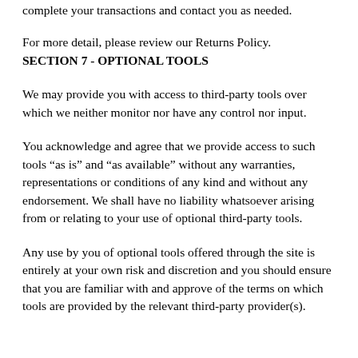complete your transactions and contact you as needed.
For more detail, please review our Returns Policy.
SECTION 7 - OPTIONAL TOOLS
We may provide you with access to third-party tools over which we neither monitor nor have any control nor input.
You acknowledge and agree that we provide access to such tools “as is” and “as available” without any warranties, representations or conditions of any kind and without any endorsement. We shall have no liability whatsoever arising from or relating to your use of optional third-party tools.
Any use by you of optional tools offered through the site is entirely at your own risk and discretion and you should ensure that you are familiar with and approve of the terms on which tools are provided by the relevant third-party provider(s).